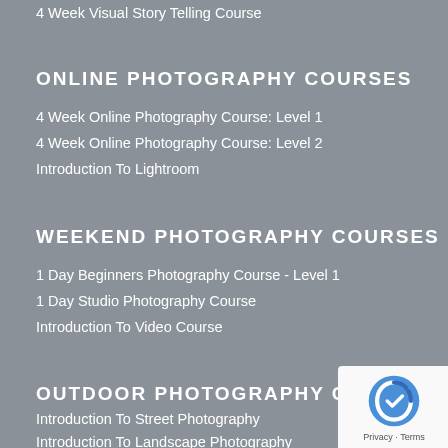4 Week Visual Story Telling Course
ONLINE PHOTOGRAPHY COURSES
4 Week Online Photography Course: Level 1
4 Week Online Photography Course: Level 2
Introduction To Lightroom
WEEKEND PHOTOGRAPHY COURSES
1 Day Beginners Photography Course - Level 1
1 Day Studio Photography Course
Introduction To Video Course
OUTDOOR PHOTOGRAPHY COURSES
Introduction To Street Photography
Introduction To Landscape Photography